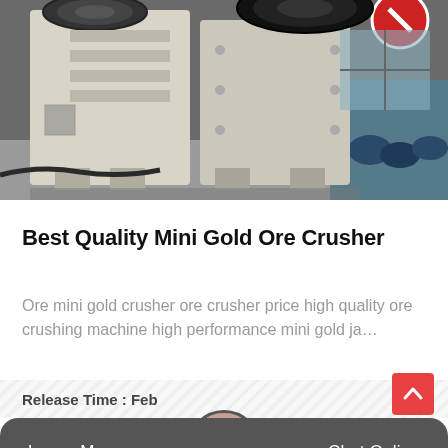[Figure (photo): Large industrial jaw crusher / ore crushing machine in a factory or warehouse setting. The machine is light grey/cream colored with a prominent flywheel visible at top. Industrial background with blue barrels visible on the right.]
Best Quality Mini Gold Ore Crusher
Ore mini gold crusher ore crusher price high quality ore crushing machine high performance mini gold ja…
Release Time : Feb
Leave Message   Chat Online